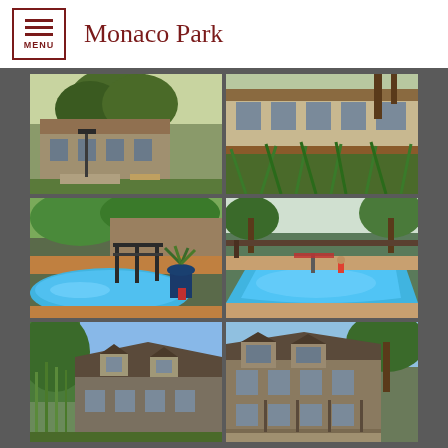Monaco Park
[Figure (photo): Collage of 6 photos showing Monaco Park apartment complex: exterior building views with large trees, pool area with deck and patio, and building facade shots]